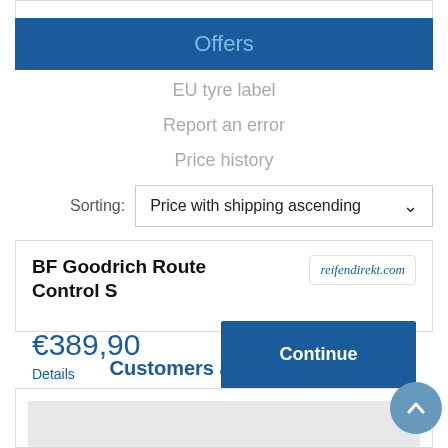Offers
EU tyre label
Report an error
Price history
Sorting: Price with shipping ascending
BF Goodrich Route Control S
reifendirekt.com
€389,90
Details
Continue
Customers also viewed: